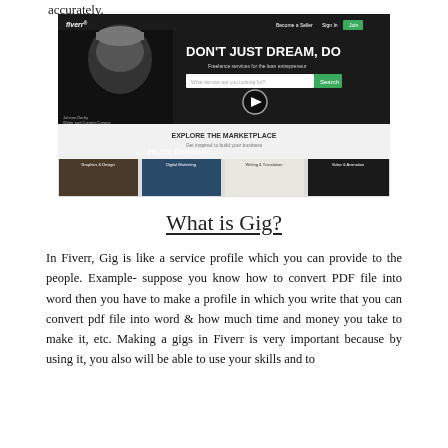accurately.
[Figure (screenshot): Fiverr website screenshot showing hero section with 'DON'T JUST DREAM, DO' headline, a man in a beanie hat, search bar, and 'Explore the Marketplace' section below with category thumbnails (Graphics & Design, Digital Marketing, Writing & Translation, Video & Animation)]
What is Gig?
In Fiverr, Gig is like a service profile which you can provide to the people. Example- suppose you know how to convert PDF file into word then you have to make a profile in which you write that you can convert pdf file into word & how much time and money you take to make it, etc. Making a gigs in Fiverr is very important because by using it, you also will be able to use your skills and to